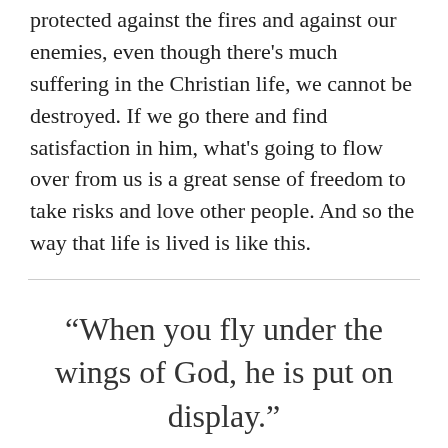protected against the fires and against our enemies, even though there's much suffering in the Christian life, we cannot be destroyed. If we go there and find satisfaction in him, what's going to flow over from us is a great sense of freedom to take risks and love other people. And so the way that life is lived is like this.
“When you fly under the wings of God, he is put on display.”
She’s in Moab. Naomi says, “Your husband’s dead, my husband’s dead. God’s hand is against me. I’m